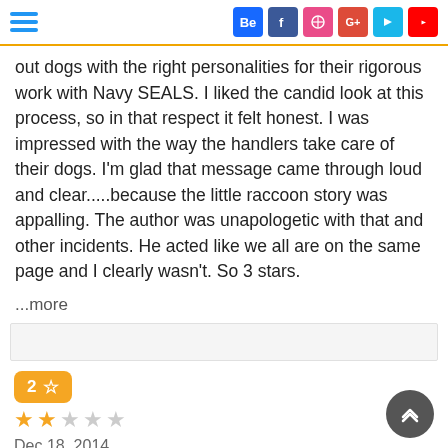Navigation header with hamburger menu and social icons: Behance, Facebook, Dribbble, Google+, Vine, YouTube
out dogs with the right personalities for their rigorous work with Navy SEALS. I liked the candid look at this process, so in that respect it felt honest. I was impressed with the way the handlers take care of their dogs. I'm glad that message came through loud and clear.....because the little raccoon story was appalling. The author was unapologetic with that and other incidents. He acted like we all are on the same page and I clearly wasn't. So 3 stars.
...more
2 star rating badge
Dec 18, 2014
I do not like this book, at all.
Hereâs my take on this: It is written as a narrative but even though the author writes of his experiences it feels disconnectedâ¦Iâm about 1/3 into this book (some 100